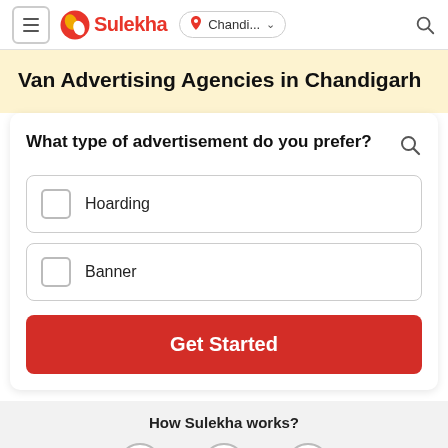[Figure (screenshot): Sulekha app header with hamburger menu, Sulekha logo, location selector showing 'Chandi...' with dropdown, and search icon]
Van Advertising Agencies in Chandigarh
What type of advertisement do you prefer?
Hoarding
Banner
Get Started
How Sulekha works?